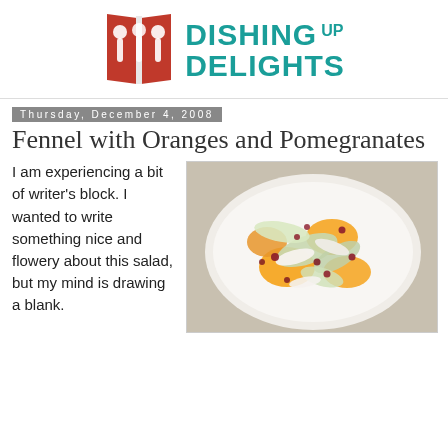[Figure (logo): Dishing Up Delights logo with red book/utensil icon and teal text]
Thursday, December 4, 2008
Fennel with Oranges and Pomegranates
I am experiencing a bit of writer's block. I wanted to write something nice and flowery about this salad, but my mind is drawing a blank.
[Figure (photo): Photo of a salad with fennel slices, orange segments, and pomegranate seeds in a white bowl]